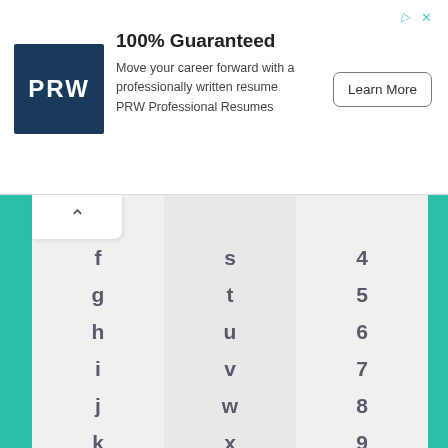[Figure (other): Advertisement banner: PRW logo (dark navy square with white text), headline '100% Guaranteed', description 'Move your career forward with a professionally written resume PRW Professional Resumes', and a 'Learn More' button.]
f g h i j k l m
s t u v w x y z
4 5 6 7 8 9